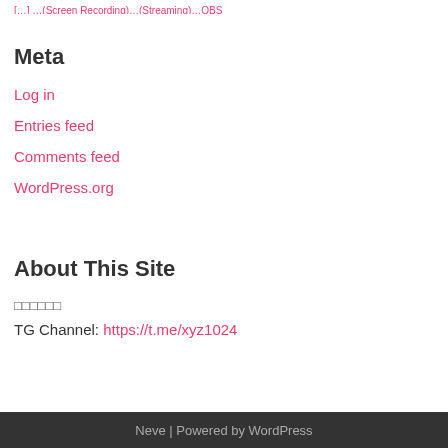[…] …(Screen Recording)…(Streaming)…OBS
Meta
Log in
Entries feed
Comments feed
WordPress.org
About This Site
□□□□□□
TG Channel: https://t.me/xyz1024
Neve | Powered by WordPress